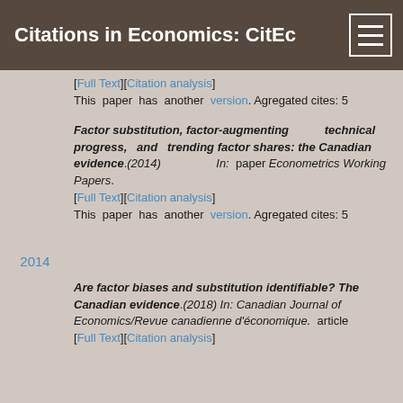Citations in Economics: CitEc
[Full Text][Citation analysis]
This paper has another version. Agregated cites: 5
Factor substitution, factor-augmenting technical progress, and trending factor shares: the Canadian evidence.(2014) In: paper Econometrics Working Papers.
[Full Text][Citation analysis]
This paper has another version. Agregated cites: 5
Are factor biases and substitution identifiable? The Canadian evidence.(2018) In: Canadian Journal of Economics/Revue canadienne d'économique. article
[Full Text][Citation analysis]